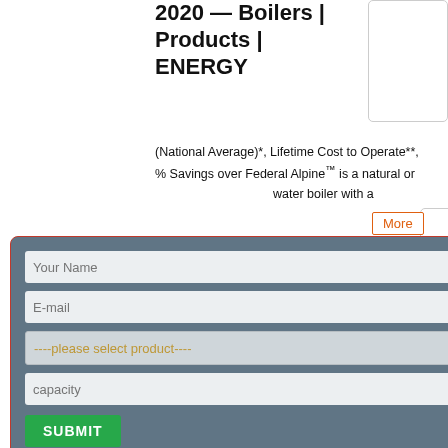2020 — Boilers | Products | ENERGY
(National Average)*, Lifetime Cost to Operate**, % Savings over Federal Alpine™ is a natural or water boiler with a
[Figure (screenshot): A modal/popup form overlay on a webpage. Contains fields: Your Name, E-mail, a dropdown '----please select product----', a capacity field, and a green SUBMIT button. The modal has a dark blue-grey background with a red border and an X close button. Behind it is a 'Read More' button with orange border, and white rounded corner boxes.]
More
Most homeowners spend on average $5,300 on gas boiler installation costs. However, the cost can vary anywhere between $3,300 to $7,350